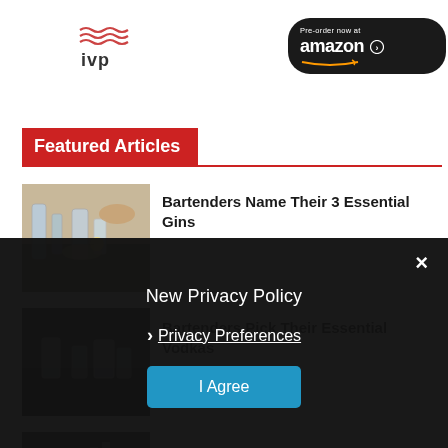[Figure (logo): IVP logo with wavy lines above text 'ivp']
[Figure (other): Amazon pre-order button in dark rounded rectangle with 'Pre-order now at amazon' text and smile arrow]
Featured Articles
[Figure (photo): Photo of gin bottles and cocktail glasses on a wooden bar surface]
Bartenders Name Their 3 Essential Gins
[Figure (photo): Photo of vodka shot glasses on dark background]
Bartenders Pick Their Essential Vodkas
[Figure (photo): Photo related to Tequila consumption with bar chart data]
Tequila Consumption Continues To Climb
New Privacy Policy
Privacy Preferences
I Agree